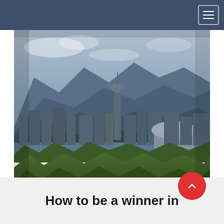[Figure (photo): Aerial/elevated photograph of Vancouver city skyline with high-rise buildings, a domed stadium (BC Place), and mountains in the background covered with forest. Trees are visible in the foreground.]
How to be a winner in